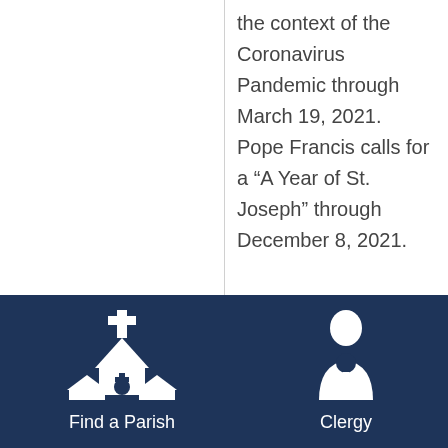the context of the Coronavirus Pandemic through March 19, 2021.  Pope Francis calls for a “A Year of St. Joseph” through December 8, 2021.
[Figure (illustration): White icon of a church building with cross on top, on dark navy background, with label 'Find a Parish' below]
[Figure (illustration): White icon of a clergy person with cross on chest, on dark navy background, with label 'Clergy' below]